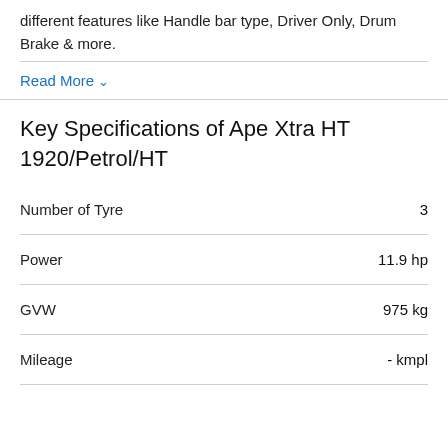different features like Handle bar type, Driver Only, Drum Brake & more.
Read More ∨
Key Specifications of Ape Xtra HT 1920/Petrol/HT
| Specification | Value |
| --- | --- |
| Number of Tyre | 3 |
| Power | 11.9 hp |
| GVW | 975 kg |
| Mileage | - kmpl |